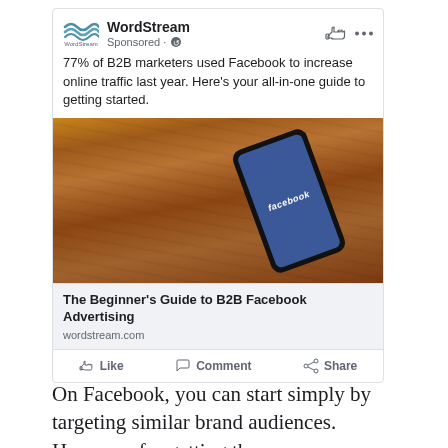[Figure (screenshot): Facebook sponsored ad from WordStream showing a smartphone on a wooden surface with Facebook logo on screen. Ad text: '77% of B2B marketers used Facebook to increase online traffic last year. Here's your all-in-one guide to getting started.' Link card: 'The Beginner's Guide to B2B Facebook Advertising' - wordstream.com. Action buttons: Like, Comment, Share.]
On Facebook, you can start simply by targeting similar brand audiences. However, for getting the